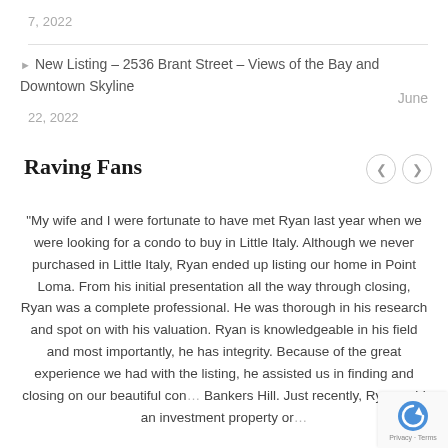7, 2022
New Listing – 2536 Brant Street – Views of the Bay and Downtown Skyline
June 22, 2022
Raving Fans
"My wife and I were fortunate to have met Ryan last year when we were looking for a condo to buy in Little Italy. Although we never purchased in Little Italy, Ryan ended up listing our home in Point Loma. From his initial presentation all the way through closing, Ryan was a complete professional. He was thorough in his research and spot on with his valuation. Ryan is knowledgeable in his field and most importantly, he has integrity. Because of the great experience we had with the listing, he assisted us in finding and closing on our beautiful con... Bankers Hill. Just recently, Ryan sold an investment property or...